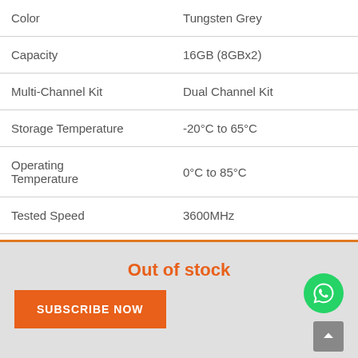| Attribute | Value |
| --- | --- |
| Color | Tungsten Grey |
| Capacity | 16GB (8GBx2) |
| Multi-Channel Kit | Dual Channel Kit |
| Storage Temperature | -20°C to 65°C |
| Operating Temperature | 0°C to 85°C |
| Tested Speed | 3600MHz |
Out of stock
SUBSCRIBE NOW